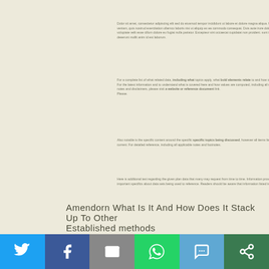Paragraph of body text about financial or educational content (blurred/low-resolution) block 1
Paragraph of body text block 2 with bold elements and general content
Paragraph of body text block 3
Paragraph of body text block 4
Paragraph of body text block 5
Paragraph of body text block 6
Amendorn What Is It And How Does It Stack Up To Other Established methods
[Figure (other): Social media share bar with Twitter, Facebook, Email, WhatsApp, SMS, and More buttons]